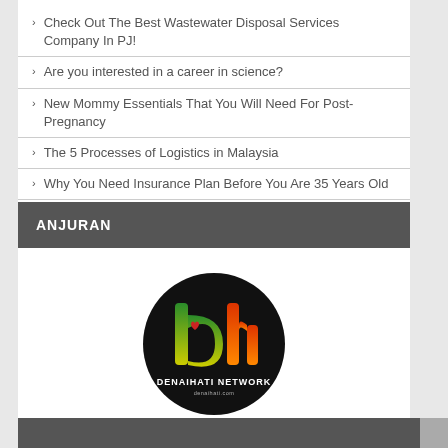Check Out The Best Wastewater Disposal Services Company In PJ!
Are you interested in a career in science?
New Mommy Essentials That You Will Need For Post-Pregnancy
The 5 Processes of Logistics in Malaysia
Why You Need Insurance Plan Before You Are 35 Years Old
ANJURAN
[Figure (logo): Denaihati Network logo — circular black badge with colorful 'dh' lettering and text DENAIHATI NETWORK denaihati.com]